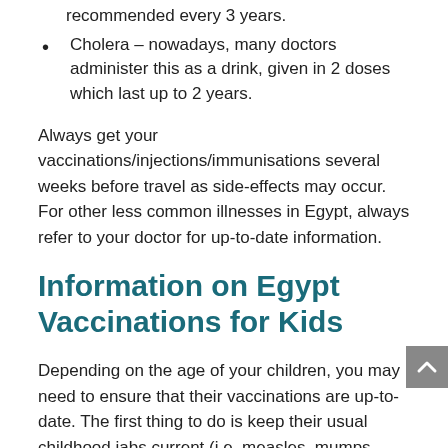recommended every 3 years.
Cholera – nowadays, many doctors administer this as a drink, given in 2 doses which last up to 2 years.
Always get your vaccinations/injections/immunisations several weeks before travel as side-effects may occur. For other less common illnesses in Egypt, always refer to your doctor for up-to-date information.
Information on Egypt Vaccinations for Kids
Depending on the age of your children, you may need to ensure that their vaccinations are up-to-date. The first thing to do is keep their usual childhood jabs current (i.e. measles, mumps, rubella) but check with your doctor what